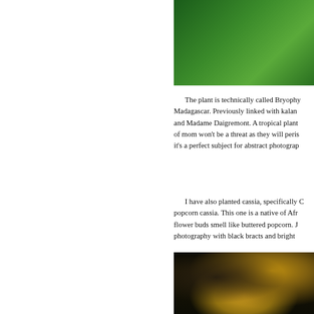[Figure (photo): Close-up photograph of a green plant against a green background, partially visible at top right of page]
The plant is technically called Bryophy... Madagascar. Previously linked with kalan... and Madame Daigremont. A tropical plant... of mom won't be a threat as they will peris... it's a perfect subject for abstract photograp...
I have also planted cassia, specifically C... popcorn cassia. This one is a native of Afr... flower buds smell like buttered popcorn. J... photography with black bracts and bright ...
[Figure (photo): Close-up macro photograph of dark black cassia flower buds with yellow-green petals against a dark background]